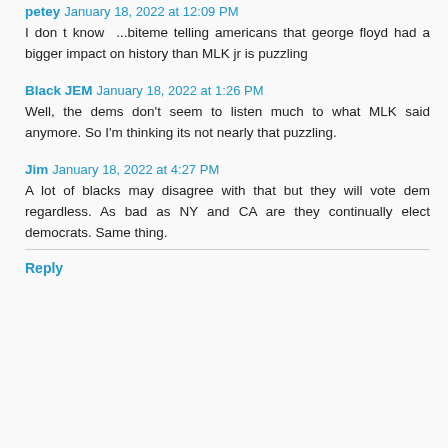petey  January 18, 2022 at 12:09 PM
I don t know ...biteme telling americans that george floyd had a bigger impact on history than MLK jr is puzzling
Black JEM  January 18, 2022 at 1:26 PM
Well, the dems don't seem to listen much to what MLK said anymore. So I'm thinking its not nearly that puzzling.
Jim  January 18, 2022 at 4:27 PM
A lot of blacks may disagree with that but they will vote dem regardless. As bad as NY and CA are they continually elect democrats. Same thing.
Reply